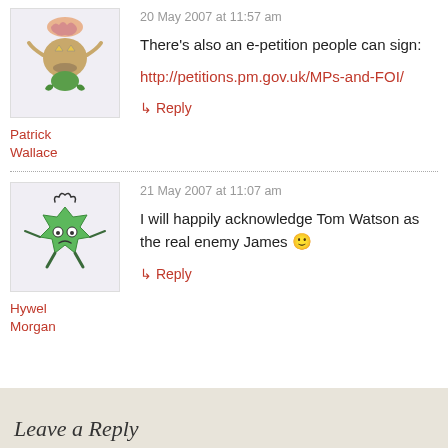[Figure (illustration): Avatar image of a cartoon character (tan blob with brain on top, triangular eyes, green legs) for Patrick Wallace]
Patrick Wallace
20 May 2007 at 11:57 am
There's also an e-petition people can sign:
http://petitions.pm.gov.uk/MPs-and-FOI/
↳ Reply
[Figure (illustration): Avatar image of a cartoon green character (star/cross shape with eyes and legs) for Hywel Morgan]
Hywel Morgan
21 May 2007 at 11:07 am
I will happily acknowledge Tom Watson as the real enemy James 🙂
↳ Reply
Leave a Reply